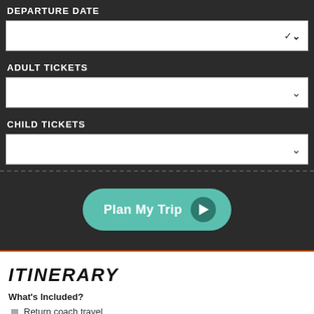DEPARTURE DATE
ADULT TICKETS
CHILD TICKETS
Plan My Trip
ITINERARY
What's Included?
Return coach travel